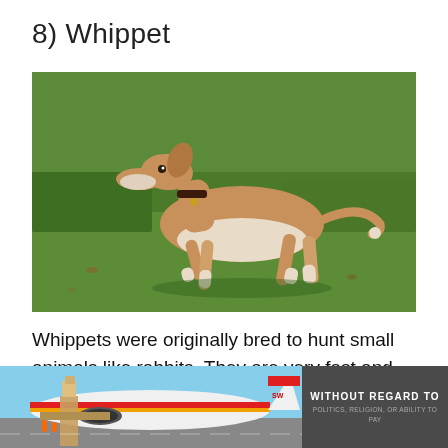8) Whippet
[Figure (photo): A tan and white Whippet dog walking on a green grass field, wearing a dark collar, photographed from the side.]
Whippets were originally bred to hunt small animals like rabbits. They are very fast and agile and you can easily spot them with a short silky
[Figure (photo): Advertisement banner showing an airplane being loaded with cargo, with overlay text reading WITHOUT REGARD TO POLITICS, RELIGION, OR ABILITY TO PAY]